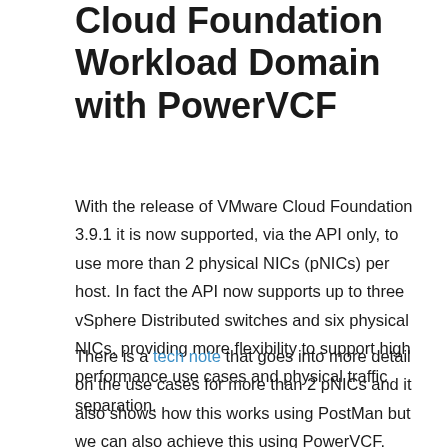Cloud Foundation Workload Domain with PowerVCF
With the release of VMware Cloud Foundation 3.9.1 it is now supported, via the API only, to use more than 2 physical NICs (pNICs) per host. In fact the API now supports up to three vSphere Distributed switches and six physical NICs, providing more flexibility to support high performance use cases and physical traffic separation.
There is a tech note that goes into more detail on the use cases for more than 2 pNICs and it also shows how this works using PostMan but we can also achieve this using PowerVCF.